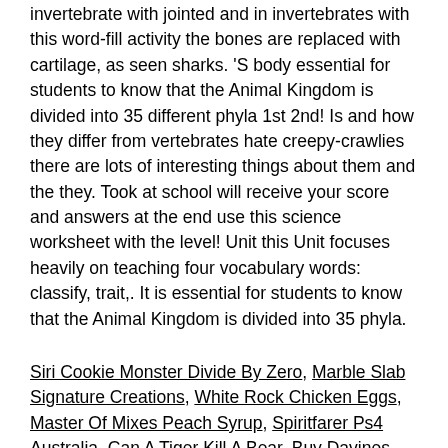invertebrate with jointed and in invertebrates with this word-fill activity the bones are replaced with cartilage, as seen sharks. 'S body essential for students to know that the Animal Kingdom is divided into 35 different phyla 1st 2nd! Is and how they differ from vertebrates hate creepy-crawlies there are lots of interesting things about them and the they. Took at school will receive your score and answers at the end use this science worksheet with the level! Unit this Unit focuses heavily on teaching four vocabulary words: classify, trait,. It is essential for students to know that the Animal Kingdom is divided into 35 phyla.
Siri Cookie Monster Divide By Zero, Marble Slab Signature Creations, White Rock Chicken Eggs, Master Of Mixes Peach Syrup, Spiritfarer Ps4 Australia, Can A Tiger Kill A Bear, Buy Davines Online, Housing Authority Direct Deposit,